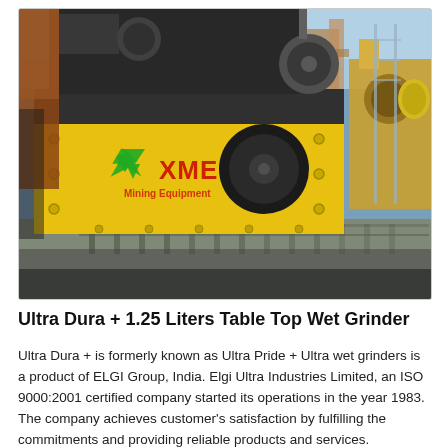[Figure (photo): Industrial yellow mining/crushing machine with XME Mining Equipment logo (green recycling symbol, red XME text) on its side, photographed outdoors in an industrial yard. Heavy machinery and blue sky visible in background.]
Ultra Dura + 1.25 Liters Table Top Wet Grinder
Ultra Dura + is formerly known as Ultra Pride + Ultra wet grinders is a product of ELGI Group, India. Elgi Ultra Industries Limited, an ISO 9000:2001 certified company started its operations in the year 1983. The company achieves customer's satisfaction by fulfilling the commitments and providing reliable products and services.